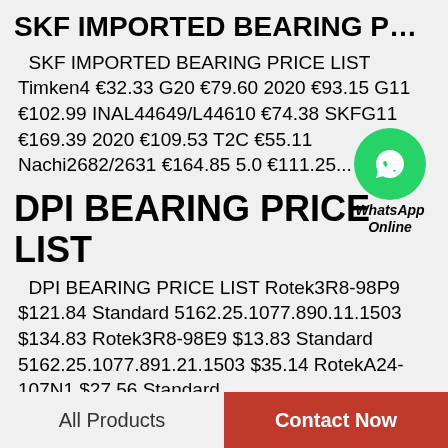SKF IMPORTED BEARING PRICE L...
SKF IMPORTED BEARING PRICE LIST Timken4 €32.33 G20 €79.60 2020 €93.15 G11 €102.99 INAL44649/L44610 €74.38 SKFG11 €169.39 2020 €109.53 T2C €55.11 Nachi2682/2631 €164.85 5.0 €111.25...
DPI BEARING PRICE LIST
[Figure (illustration): WhatsApp Online button with green circle phone icon and text 'WhatsApp Online']
DPI BEARING PRICE LIST Rotek3R8-98P9 $121.84 Standard 5162.25.1077.890.11.1503 $134.83 Rotek3R8-98E9 $13.83 Standard 5162.25.1077.891.21.1503 $35.14 RotekA24-107N1 $27.56 Standard 560.25.0955.500.11.1503...
All Products   Contact Now